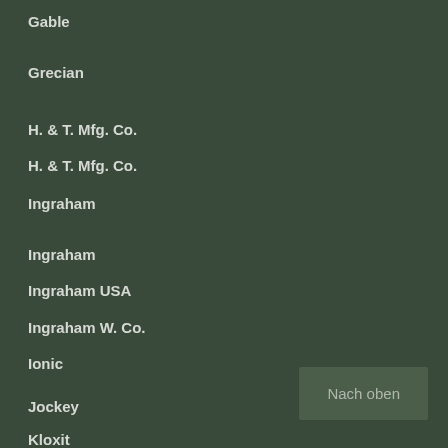Gable
Grecian
H. & T. Mfg. Co.
H. & T. Mfg. Co.
Ingraham
Ingraham
Ingraham USA
Ingraham W. Co.
Ionic
Jockey
Kloxit
Nach oben